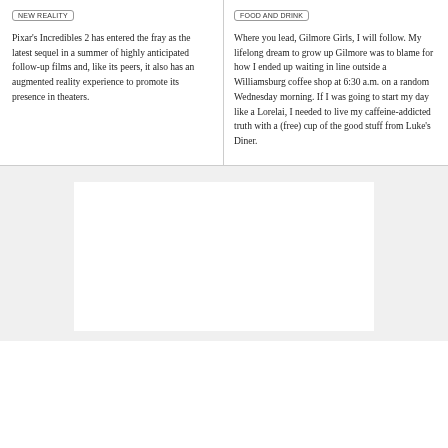Pixar's Incredibles 2 has entered the fray as the latest sequel in a summer of highly anticipated follow-up films and, like its peers, it also has an augmented reality experience to promote its presence in theaters.
Where you lead, Gilmore Girls, I will follow. My lifelong dream to grow up Gilmore was to blame for how I ended up waiting in line outside a Williamsburg coffee shop at 6:30 a.m. on a random Wednesday morning. If I was going to start my day like a Lorelai, I needed to live my caffeine-addicted truth with a (free) cup of the good stuff from Luke's Diner.
[Figure (photo): White rectangular image placeholder on light gray background]